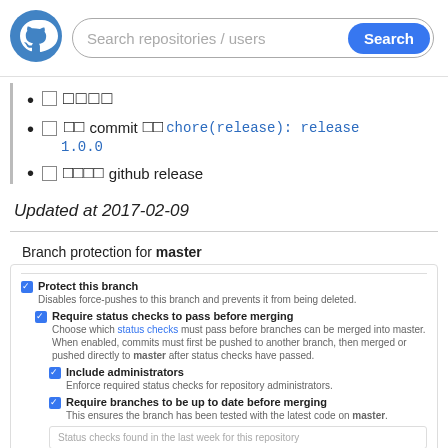Search repositories / users Search
□ □□□□
□ □□ commit □□ chore(release): release 1.0.0
□ □□□□ github release
Updated at 2017-02-09
Branch protection for master
Protect this branch
Disables force-pushes to this branch and prevents it from being deleted.
Require status checks to pass before merging
Choose which status checks must pass before branches can be merged into master. When enabled, commits must first be pushed to another branch, then merged or pushed directly to master after status checks have passed.
Include administrators
Enforce required status checks for repository administrators.
Require branches to be up to date before merging
This ensures the branch has been tested with the latest code on master.
Status checks found in the last week for this repository